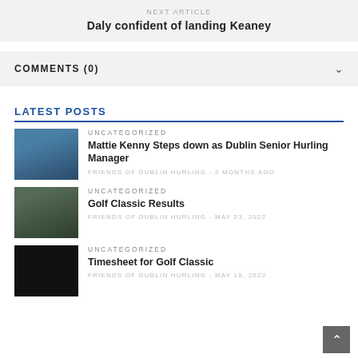NEXT ARTICLE
Daly confident of landing Keaney
COMMENTS (0)
LATEST POSTS
UNCATEGORIZED
Mattie Kenny Steps down as Dublin Senior Hurling Manager
FRIENDS OF DUBLIN HURLING - 2 MONTHS AGO
UNCATEGORIZED
Golf Classic Results
FRIENDS OF DUBLIN HURLING - MAY 23, 2022
UNCATEGORIZED
Timesheet for Golf Classic
FRIENDS OF DUBLIN HURLING - MAY 18, 2022